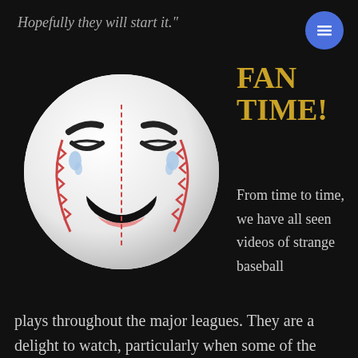Hopefully they will start it."
[Figure (illustration): Cartoon baseball with a laughing face, tears of joy, wide open mouth, drawn as an emoji-style character on a white baseball with red stitching and a black border shadow.]
FAN TIME!
From time to time, we have all seen videos of strange baseball plays throughout the major leagues.  They are a delight to watch, particularly when some of the